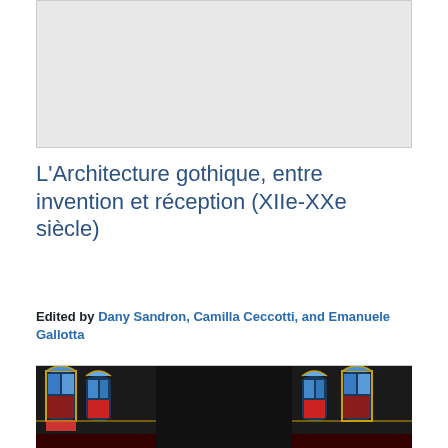[Figure (photo): Gray placeholder image for book cover top portion]
L'Architecture gothique, entre invention et réception (XIIe-XXe siècle)
Edited by Dany Sandron, Camilla Ceccotti, and Emanuele Gallotta
Price: CA$63.65
ISBN: 9782807615137
Pub Date: 2020-09-21
[Figure (photo): Bottom portion of book cover showing stained glass Gothic architectural details in blue, red, and gold on dark background]